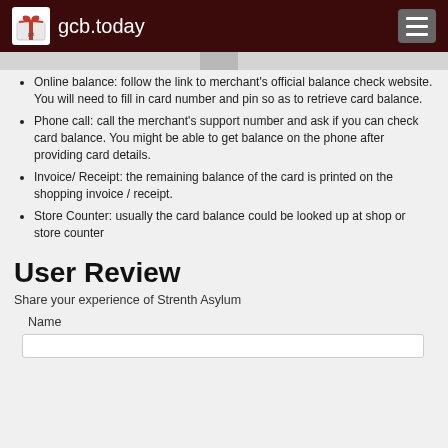gcb.today
Online balance: follow the link to merchant's official balance check website. You will need to fill in card number and pin so as to retrieve card balance.
Phone call: call the merchant's support number and ask if you can check card balance. You might be able to get balance on the phone after providing card details.
Invoice/ Receipt: the remaining balance of the card is printed on the shopping invoice / receipt.
Store Counter: usually the card balance could be looked up at shop or store counter
User Review
Share your experience of Strenth Asylum
Name